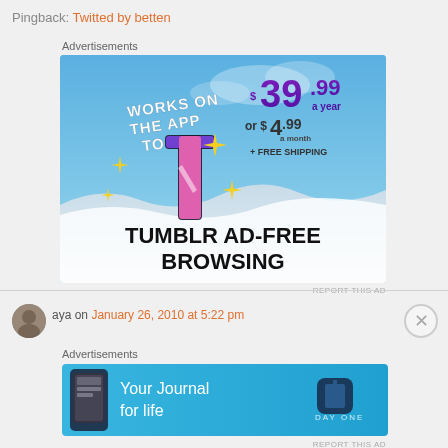Pingback: Twitted by betten
Advertisements
[Figure (screenshot): Tumblr Ad-Free Browsing advertisement banner showing the Tumblr 't' logo with sparkles, price of $39.99 a year or $4.99 a month + FREE SHIPPING, and text 'WORKS ON THE APP TOO!']
REPORT THIS AD
aya on January 26, 2010 at 5:22 pm
Advertisements
[Figure (screenshot): Day One app advertisement showing 'Your Journal for life' with the Day One logo on a blue background]